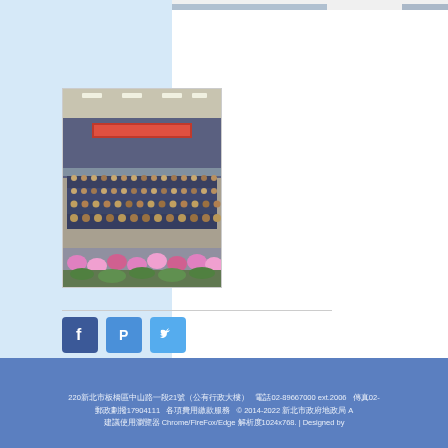[Figure (photo): Conference hall photo showing audience seated in rows facing a stage, wide-angle view]
[Figure (infographic): Social media share buttons: Facebook (blue F), Plurk (blue P), Twitter (blue bird icon)]
220（address in Chinese）21（address in Chinese）　電話02-89667000 ext.2006　傳真02-（number）
郵政劃撥17904111　（text in Chinese）　© 2014-2022 （text）A
建議使用瀏覽器 Chrome/FireFox/Edge 解析度1024x768. | Designed by